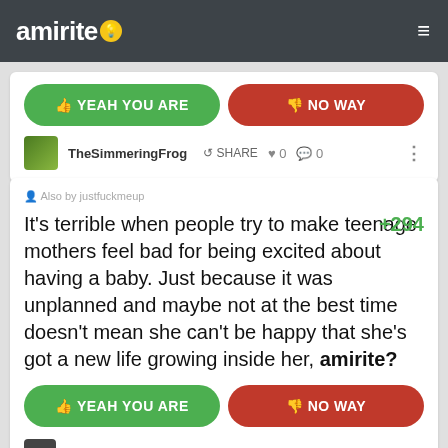amirite?
YEAH YOU ARE
NO WAY
TheSimmeringFrog  SHARE  0  0
Also by justfuckmeup
It's terrible when people try to make teenage mothers feel bad for being excited about having a baby. Just because it was unplanned and maybe not at the best time doesn't mean she can't be happy that she's got a new life growing inside her, amirite?  +294
YEAH YOU ARE
NO WAY